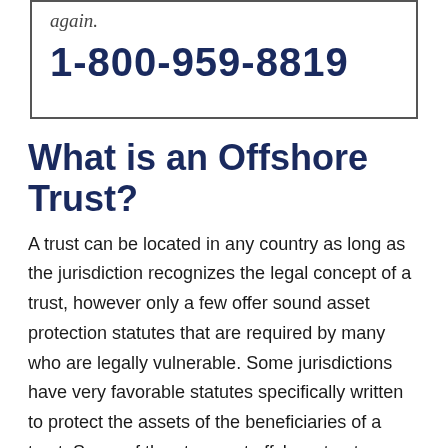again.
1-800-959-8819
What is an Offshore Trust?
A trust can be located in any country as long as the jurisdiction recognizes the legal concept of a trust, however only a few offer sound asset protection statutes that are required by many who are legally vulnerable. Some jurisdictions have very favorable statutes specifically written to protect the assets of the beneficiaries of a trust. Some of the strongest offshore trust jurisdictions are Cook Islands, Nevis and Belize. Selecting the proper jurisdiction is critical